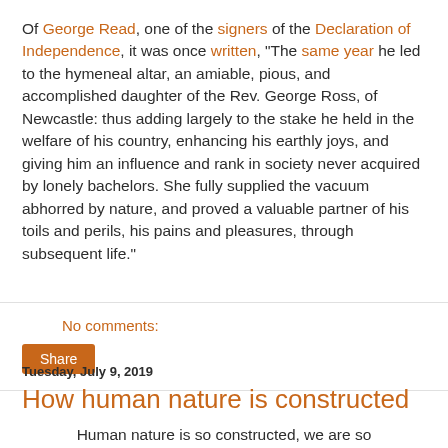Of George Read, one of the signers of the Declaration of Independence, it was once written, "The same year he led to the hymeneal altar, an amiable, pious, and accomplished daughter of the Rev. George Ross, of Newcastle: thus adding largely to the stake he held in the welfare of his country, enhancing his earthly joys, and giving him an influence and rank in society never acquired by lonely bachelors. She fully supplied the vacuum abhorred by nature, and proved a valuable partner of his toils and perils, his pains and pleasures, through subsequent life."
No comments:
Share
Tuesday, July 9, 2019
How human nature is constructed
Human nature is so constructed, we are so